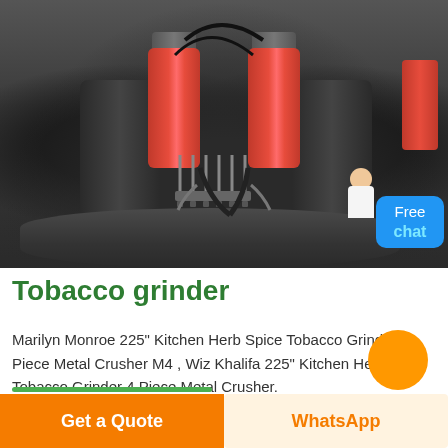[Figure (photo): Industrial machinery photo showing large grinding/crushing machine with red hydraulic cylinders on dark metal body, viewed from above, on factory floor]
Tobacco grinder
Marilyn Monroe 225" Kitchen Herb Spice Tobacco Grinder 4 Piece Metal Crusher M4 , Wiz Khalifa 225" Kitchen Herb Spice Tobacco Grinder 4 Piece Metal Crusher.